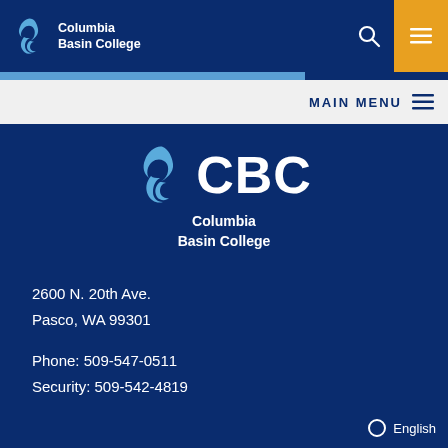Columbia Basin College
MAIN MENU
[Figure (logo): CBC Columbia Basin College white logo on dark blue background]
2600 N. 20th Ave.
Pasco, WA 99301
Phone: 509-547-0511
Security: 509-542-4819
English